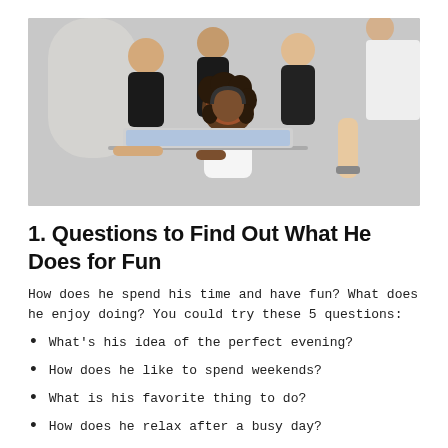[Figure (photo): Group of five young people gathered around a laptop, looking at the screen and smiling. One woman with curly hair sits at the center typing, others stand or sit around her in a bright workspace setting.]
1. Questions to Find Out What He Does for Fun
How does he spend his time and have fun? What does he enjoy doing? You could try these 5 questions:
What's his idea of the perfect evening?
How does he like to spend weekends?
What is his favorite thing to do?
How does he relax after a busy day?